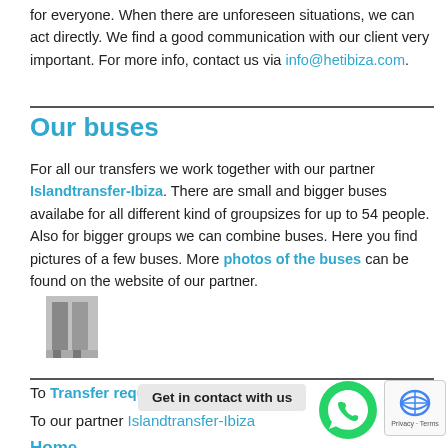for everyone. When there are unforeseen situations, we can act directly. We find a good communication with our client very important. For more info, contact us via info@hetibiza.com.
Our buses
For all our transfers we work together with our partner Islandtransfer-Ibiza. There are small and bigger buses availabe for all different kind of groupsizes for up to 54 people. Also for bigger groups we can combine buses. Here you find pictures of a few buses. More photos of the buses can be found on the website of our partner.
[Figure (photo): A small greyscale image of buses]
To Transfer request
Get in contact with us
To our partner Islandtransfer-Ibiza
Home